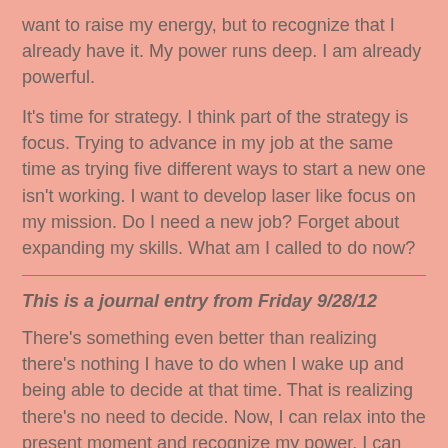want to raise my energy, but to recognize that I already have it. My power runs deep. I am already powerful.
It's time for strategy. I think part of the strategy is focus. Trying to advance in my job at the same time as trying five different ways to start a new one isn't working. I want to develop laser like focus on my mission. Do I need a new job? Forget about expanding my skills. What am I called to do now?
This is a journal entry from Friday 9/28/12
There's something even better than realizing there's nothing I have to do when I wake up and being able to decide at that time. That is realizing there's no need to decide. Now, I can relax into the present moment and recognize my power. I can keep my mind off of churning about what to do next. I can daydream.